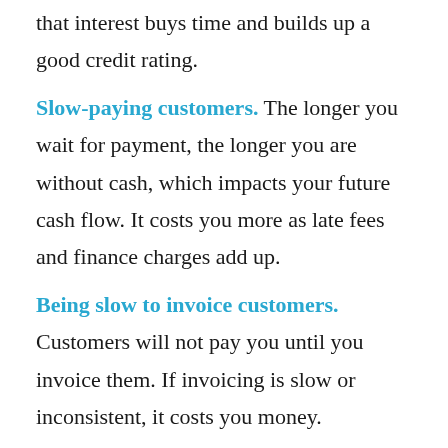that interest buys time and builds up a good credit rating.
Slow-paying customers. The longer you wait for payment, the longer you are without cash, which impacts your future cash flow. It costs you more as late fees and finance charges add up.
Being slow to invoice customers. Customers will not pay you until you invoice them. If invoicing is slow or inconsistent, it costs you money.
Using cash for other investments. Invest excess cash to earn more through interest and investment gains. If a sudden cash emergency comes up, you are often left